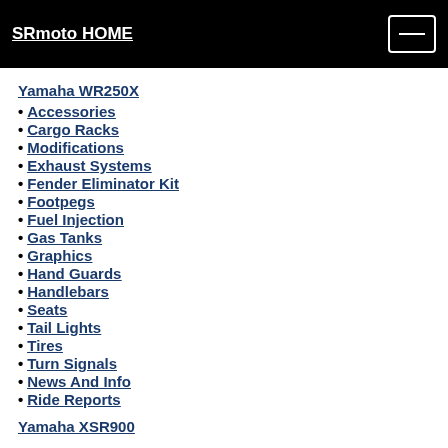SRmoto HOME
Yamaha WR250X
Accessories
Cargo Racks
Modifications
Exhaust Systems
Fender Eliminator Kit
Footpegs
Fuel Injection
Gas Tanks
Graphics
Hand Guards
Handlebars
Seats
Tail Lights
Tires
Turn Signals
News And Info
Ride Reports
Yamaha XSR900